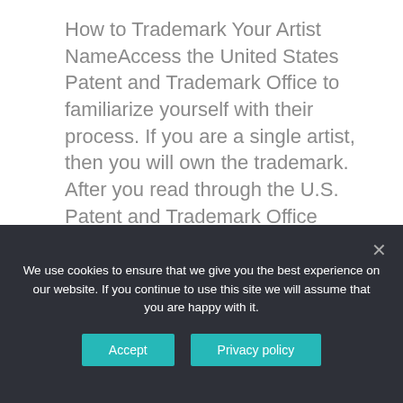How to Trademark Your Artist NameAccess the United States Patent and Trademark Office to familiarize yourself with their process. If you are a single artist, then you will own the trademark. After you read through the U.S. Patent and Trademark Office material, you'll have to identify the field class(es) you want your trademark to cover.
[Figure (infographic): Homework Help at PRO-PAPERS advertisement banner with NOW WITH 15% discount badge and ORDER button]
We use cookies to ensure that we give you the best experience on our website. If you continue to use this site we will assume that you are happy with it.